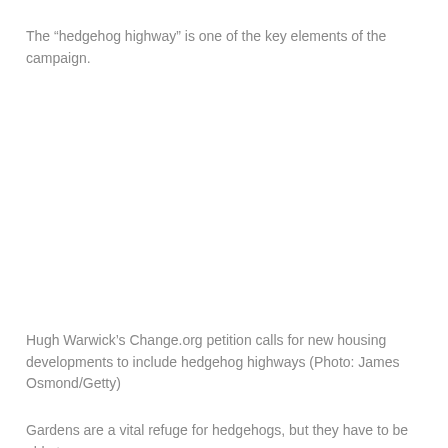The “hedgehog highway” is one of the key elements of the campaign.
[Figure (photo): Photo of a hedgehog in a garden setting (Photo: James Osmond/Getty). Image content not visible in this crop.]
Hugh Warwick’s Change.org petition calls for new housing developments to include hedgehog highways (Photo: James Osmond/Getty)
Gardens are a vital refuge for hedgehogs, but they have to be able to